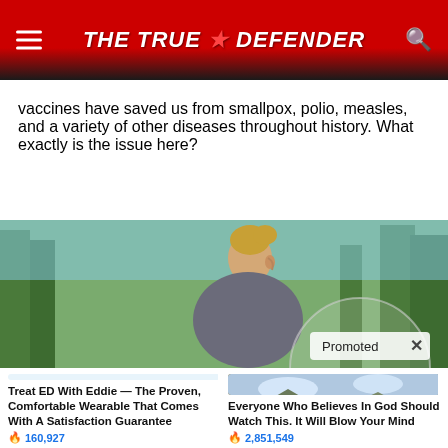THE TRUE DEFENDER
vaccines have saved us from smallpox, polio, measles, and a variety of other diseases throughout history. What exactly is the issue here?
[Figure (photo): Promotional banner showing a woman looking to the side outdoors with trees in background. Promoted badge with X close button in lower right.]
[Figure (photo): Product image of light blue wearable fitness/medical device bands stacked]
Treat ED With Eddie — The Proven, Comfortable Wearable That Comes With A Satisfaction Guarantee
🔥 160,927
[Figure (photo): Video thumbnail showing cemetery with crosses and mountains in background, play button overlay]
Everyone Who Believes In God Should Watch This. It Will Blow Your Mind
🔥 2,851,549